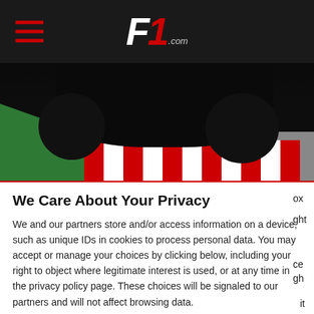F1.com – hamburger menu and logo header
[Figure (photo): A Formula 1 racing car photographed from below/behind at a track corner, showing the underside of the car, tires, and a red-white kerb with green grass. Dark, dramatic lighting.]
We Care About Your Privacy
We and our partners store and/or access information on a device, such as unique IDs in cookies to process personal data. You may accept or manage your choices by clicking below, including your right to object where legitimate interest is used, or at any time in the privacy policy page. These choices will be signaled to our partners and will not affect browsing data.
We and our partners process data to provide:
Use precise geolocation data. Actively scan device characteristics for identification. Select basic ads. Select personalised ads. Store